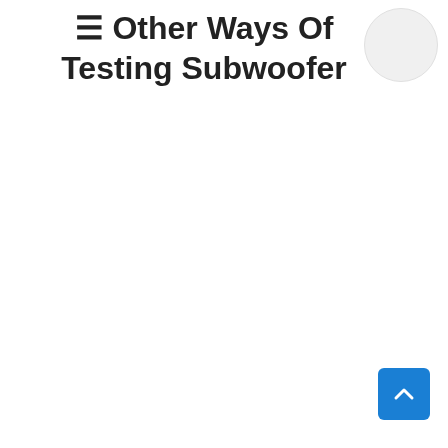☰ Other Ways Of Testing Subwoofer
[Figure (illustration): Circular button/avatar element in the top right corner]
[Figure (illustration): Blue square scroll-to-top button with upward chevron arrow in the bottom right corner]